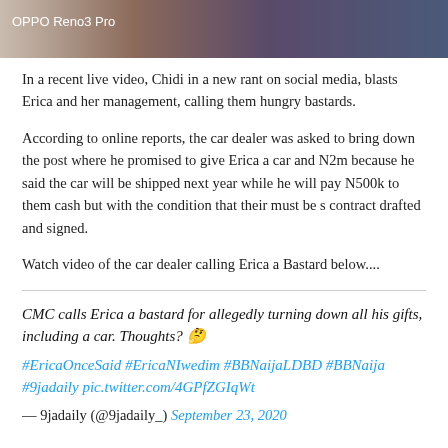[Figure (photo): Partial photo of people, with OPPO Reno3 Pro watermark label in white text at top left]
In a recent live video, Chidi in a new rant on social media, blasts Erica and her management, calling them hungry bastards.
According to online reports, the car dealer was asked to bring down the post where he promised to give Erica a car and N2m because he said the car will be shipped next year while he will pay N500k to them cash but with the condition that their must be s contract drafted and signed.
Watch video of the car dealer calling Erica a Bastard below....
CMC calls Erica a bastard for allegedly turning down all his gifts, including a car. Thoughts? 🤔 #EricaOnceSaid #EricaNIwedim #BBNaijaLDBD #BBNaija #9jadaily pic.twitter.com/4GPfZGIqWt
— 9jadaily (@9jadaily_) September 23, 2020